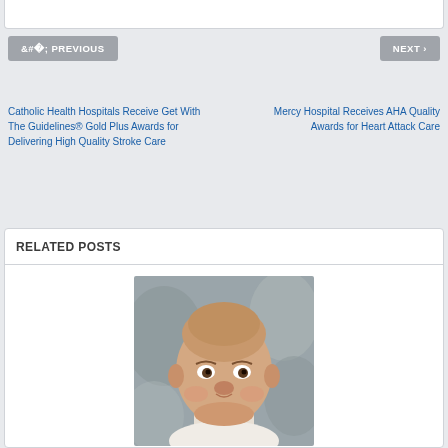< PREVIOUS
NEXT >
Catholic Health Hospitals Receive Get With The Guidelines® Gold Plus Awards for Delivering High Quality Stroke Care
Mercy Hospital Receives AHA Quality Awards for Heart Attack Care
RELATED POSTS
[Figure (photo): Portrait photo of a middle-aged smiling bald man in a light-colored shirt against a grey background]